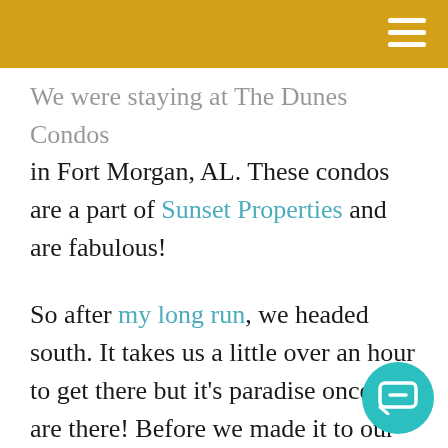We were staying at The Dunes Condos in Fort Morgan, AL. These condos are a part of Sunset Properties and are fabulous!
So after my long run, we headed south. It takes us a little over an hour to get there but it's paradise once we are there! Before we made it to our destination we stopped to walk on the beach. Unfortunately it was super super windy (I'm talking 25 mph winds) and was hard to enjoy the beach as much as we would have liked. It was also cold…